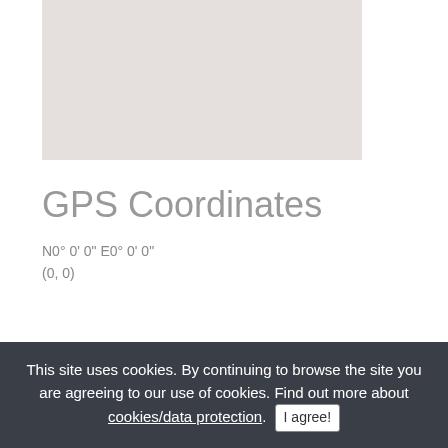[Figure (map): A light gray placeholder map area]
GPS Coordinates
N0° 0' 0" E0° 0' 0"
(0, 0)
Find nearby...
This site uses cookies. By continuing to browse the site you are agreeing to our use of cookies. Find out more about cookies/data protection. I agree!